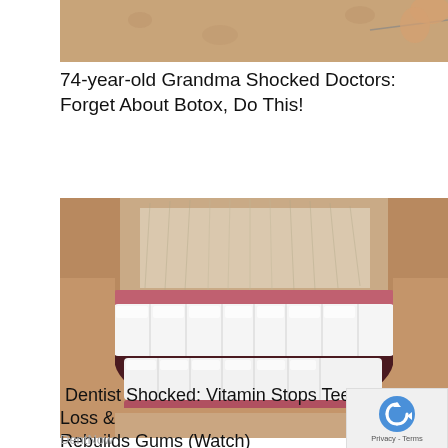[Figure (photo): Close-up cropped photo of an elderly person's face/ear area, skin showing age spots, partial view of glasses]
74-year-old Grandma Shocked Doctors: Forget About Botox, Do This!
[Figure (photo): Close-up photo of a man's mouth with a white mustache showing very white, bright dental veneers or dentures, smiling wide]
Dentist Shocked: Vitamin Stops Teeth Loss & Rebuilds Gums (Watch)
DentNow